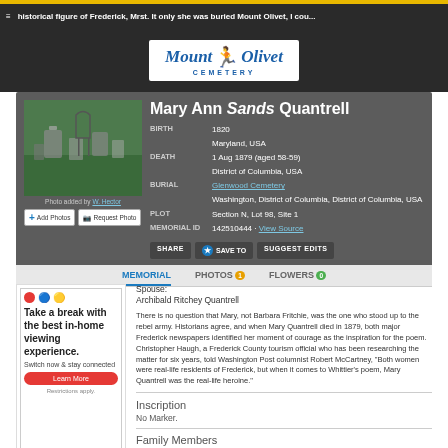historical figure of Frederick, Mrst. It only she was buried Mount Olivet, I cou...
[Figure (logo): Mount Olivet Cemetery logo with figure and text]
Mary Ann Sands Quantrell
| Field | Value |
| --- | --- |
| BIRTH | 1820
Maryland, USA |
| DEATH | 1 Aug 1879 (aged 58-59)
District of Columbia, USA |
| BURIAL | Glenwood Cemetery
Washington, District of Columbia, District of Columbia, USA |
| PLOT | Section N, Lot 98, Site 1 |
| MEMORIAL ID | 142510444 · View Source |
[Figure (photo): Cemetery photo showing gravestones on grass]
Photo added by W. Hector
Spouse:
Archibald Ritchey Quantrell
There is no question that Mary, not Barbara Fritchie, was the one who stood up to the rebel army. Historians agree, and when Mary Quantrell died in 1879, both major Frederick newspapers identified her moment of courage as the inspiration for the poem. Christopher Haugh, a Frederick County tourism official who has been researching the matter for six years, told Washington Post columnist Robert McCartney, "Both women were real-life residents of Frederick, but when it comes to Whittier's poem, Mary Quantrell was the real-life heroine."
Inscription
No Marker.
Family Members
Parents
George W. Sands
Spouse
Archibald Ritchey Quantrell